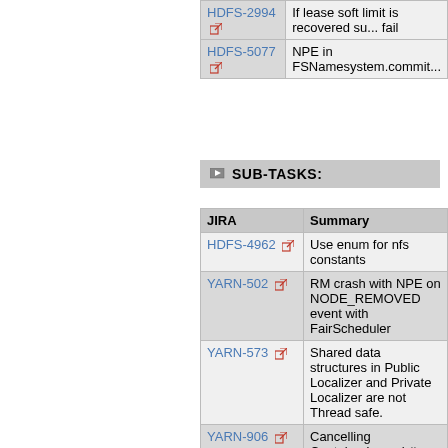| JIRA | Summary |
| --- | --- |
| HDFS-2994 | If lease soft limit is recovered su... fail |
| HDFS-5077 | NPE in FSNamesystem.commit... |
SUB-TASKS:
| JIRA | Summary |
| --- | --- |
| HDFS-4962 | Use enum for nfs constants |
| YARN-502 | RM crash with NPE on NODE_REMOVED event with FairScheduler |
| YARN-573 | Shared data structures in Public Localizer and Private Localizer are not Thread safe. |
| YARN-906 | Cancelling ContainerLaunch#ca... at KILLING causes that the container cannot be completed |
| HDFS-5071 | Change hdfs-nfs parent project to hadoop-project |
| HDFS-4763 | Add script changes/utility for starting NFS gateway |
| MAPREDUCE-5462 | In map-side sort, swap entire meta entries instead of indexes better cache performance |
| HDFS-5104 | Support dotdot name in NFS LOOKUP operation |
| HDFS- | Fix array copy error in Readdir... |